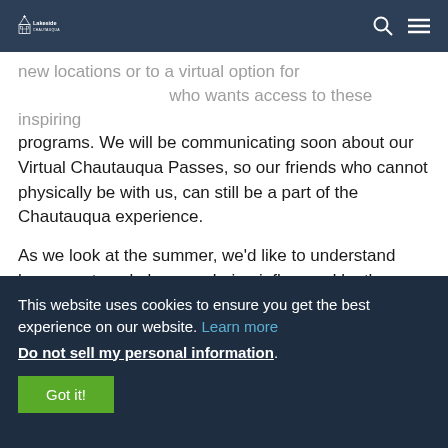[Figure (logo): Lakeside Chautauqua logo with church/building icon and text 'Lakeside CHAUTAUQUA']
new locations or to a virtual option for who wants access to these inspiring programs. We will be communicating soon about our Virtual Chautauqua Passes, so our friends who cannot physically be with us, can still be a part of the Chautauqua experience.
As we look at the summer, we'd like to understand how your travel plans are being influenced by the COVID-19 pandemic. Below you will find a link to a brief survey
This website uses cookies to ensure you get the best experience on our website. Learn more
Do not sell my personal information.
Got it!